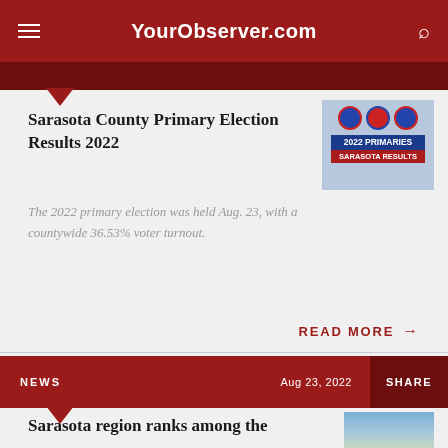YourObserver.com
Sarasota County Primary Election Results 2022
[Figure (other): 2022 Primaries Sarasota Results thumbnail image with circular 'I voted' stickers]
The 2022 primary election was held Aug. 23, with a countywide 36.53% voter turnout.
READ MORE →
NEWS   Aug 23, 2022   SHARE
Sarasota region ranks among the
[Figure (photo): Photo of a building with clear blue sky]